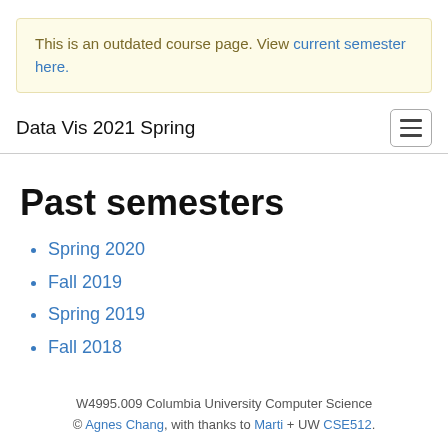This is an outdated course page. View current semester here.
Data Vis 2021 Spring
Past semesters
Spring 2020
Fall 2019
Spring 2019
Fall 2018
W4995.009 Columbia University Computer Science © Agnes Chang, with thanks to Marti + UW CSE512.